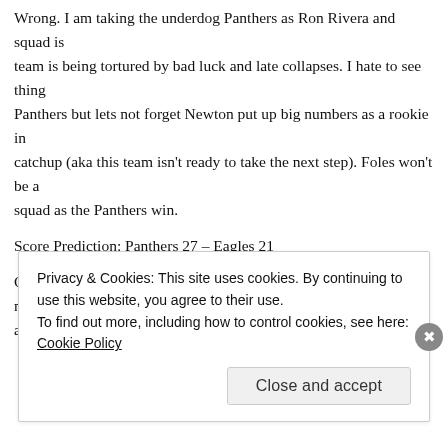Wrong. I am taking the underdog Panthers as Ron Rivera and squad is team is being tortured by bad luck and late collapses. I hate to see thing Panthers but lets not forget Newton put up big numbers as a rookie in catchup (aka this team isn't ready to take the next step). Foles won't be a squad as the Panthers win.
Score Prediction: Panthers 27 – Eagles 21
Call it a quick week but we expect a wild one this week. With a number another great week out of the Cover 4. Enjoy the Holiday.
Privacy & Cookies: This site uses cookies. By continuing to use this website, you agree to their use.
To find out more, including how to control cookies, see here: Cookie Policy